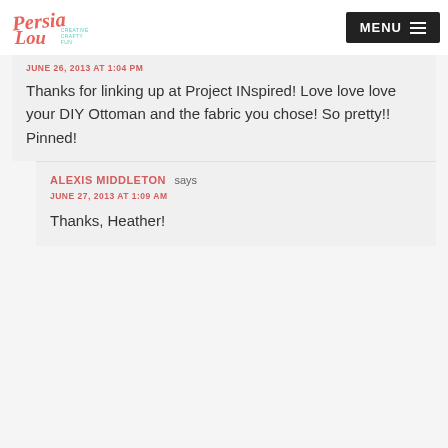Persia Lou — CREATIVE CRAFTY FUN | MENU
JUNE 26, 2013 AT 1:04 PM
Thanks for linking up at Project INspired! Love love love your DIY Ottoman and the fabric you chose! So pretty!! Pinned!
ALEXIS MIDDLETON says
JUNE 27, 2013 AT 1:09 AM
Thanks, Heather!